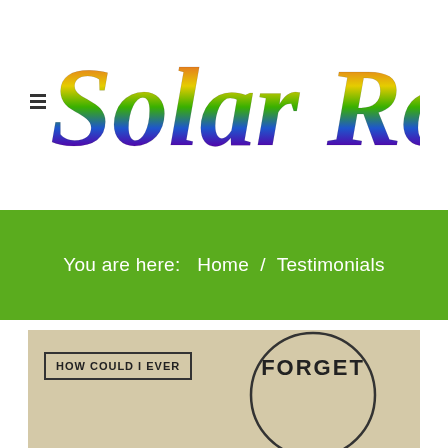[Figure (logo): Solar Room® rainbow-colored italic logo with hamburger menu icon]
You are here:  Home  /  Testimonials
[Figure (illustration): Partial comic strip showing a speech box with text 'HOW COULD I EVER' and a circular cartoon face partially visible]